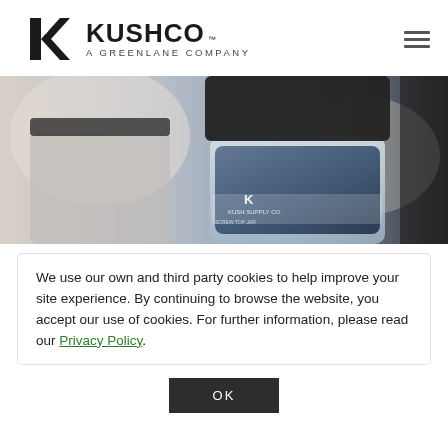[Figure (logo): KushCo logo with K icon and text KUSHCO A GREENLANE COMPANY, plus hamburger menu icon]
[Figure (photo): Close-up photo of glass jars with dark lids, one showing Kush Supply Co. screw top jar label with blue-tinted glass]
We use our own and third party cookies to help improve your site experience. By continuing to browse the website, you accept our use of cookies. For further information, please read our Privacy Policy.
OK